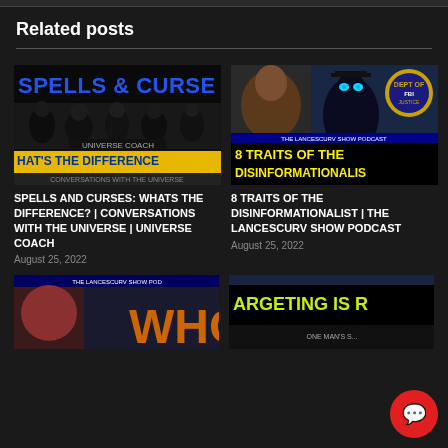Related posts
[Figure (screenshot): Thumbnail for 'Spells and Curses' podcast episode showing dark supernatural imagery with text SPELLS & CURSES and WHAT'S THE DIFFERENCE, UNIVERSE COACH, CONVERSATIONS WITH THE UNIVERSE]
SPELLS AND CURSES: WHATS THE DIFFERENCE? | CONVERSATIONS WITH THE UNIVERSE | UNIVERSE COACH
August 25, 2022
[Figure (screenshot): Thumbnail for '8 Traits of the Disinformationalist' LanceScurv Show Podcast episode showing a man and a shadowy FBI-related figure]
8 TRAITS OF THE DISINFORMATIONALIST | THE LANCESCURV SHOW PODCAST
August 25, 2022
[Figure (screenshot): Partial thumbnail showing WHO text on dark background with person]
[Figure (screenshot): Partial thumbnail showing TARGETING IS text on yellow/green background]